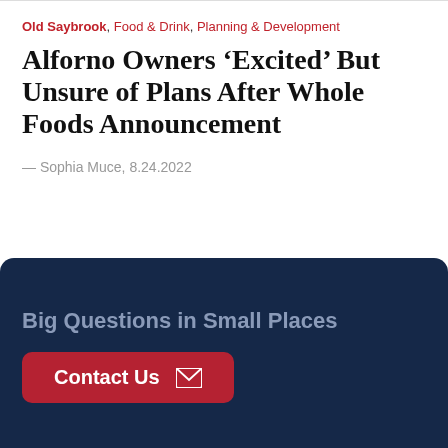Old Saybrook, Food & Drink, Planning & Development
Alforno Owners ‘Excited’ But Unsure of Plans After Whole Foods Announcement
— Sophia Muce, 8.24.2022
Big Questions in Small Places
Contact Us